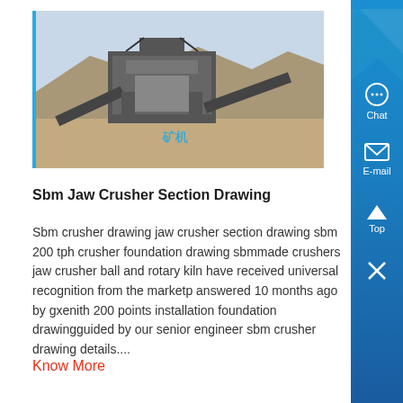[Figure (photo): Photograph of an SBM jaw crusher / mobile crushing plant in an open-air mining environment with mountains in background]
Sbm Jaw Crusher Section Drawing
Sbm crusher drawing jaw crusher section drawing sbm 200 tph crusher foundation drawing sbmmade crushers jaw crusher ball and rotary kiln have received universal recognition from the marketp answered 10 months ago by gxenith 200 points installation foundation drawingguided by our senior engineer sbm crusher drawing details....
Know More